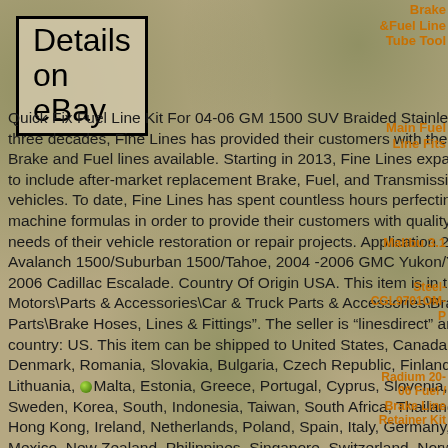Details on eBay
Quick Fix Fuel Line Kit For 04-06 GM 1500 SUV Braided Stainless. For more than three decades, Fine Lines has provided their customers with the best reproduction Brake and Fuel lines available. Starting in 2013, Fine Lines expanded its manufacturing to include after-market replacement Brake, Fuel, and Transmission lines for modern vehicles. To date, Fine Lines has spent countless hours perfecting their patterns and machine formulas in order to provide their customers with quality fittings that meet the needs of their vehicle restoration or repair projects. Application 2004- 2006 Chevrolet Avalanch 1500/Suburban 1500/Tahoe, 2004 -2006 GMC Yukon/Yukon XL 1500, 2004 – 2006 Cadillac Escalade. Country Of Origin USA. This item is in the category “eBay Motors\Parts & Accessories\Car & Truck Parts & Accessories\Brakes & Brake Parts\Brake Hoses, Lines & Fittings”. The seller is “linesdirect” and is located in this country: US. This item can be shipped to United States, Canada, United Kingdom, Denmark, Romania, Slovakia, Bulgaria, Czech Republic, Finland, Hungary, Latvia, Lithuania, Malta, Estonia, Greece, Portugal, Cyprus, Slovenia, Japan, China, Sweden, Korea, South, Indonesia, Taiwan, South Africa, Thailand, Belgium, France, Hong Kong, Ireland, Netherlands, Poland, Spain, Italy, Germany, Austria, Bahamas, Mexico, New Zealand, Philippines, Singapore, Switzerland, Norway, Saudi Arabia, Ukraine, United Arab Emirates, Qatar, Kuwait, Bahrain, Croatia, Republic of, Malaysia, Brazil, Chile…
Brake &Fuel Line Tube Tool
Main Fuel Line Fits
Malibu 3.1
Steel- CGL9701OM-P
Radium 20-06 Fuel / Brake Line Retainer Kit
Nissan S14/S15/R32
ARCHIVES
August 2022
July 2022